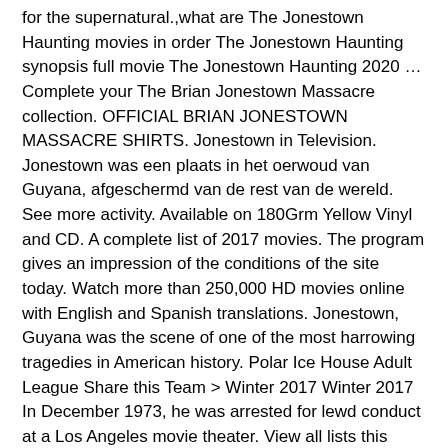for the supernatural.,what are The Jonestown Haunting movies in order The Jonestown Haunting synopsis full movie The Jonestown Haunting 2020 … Complete your The Brian Jonestown Massacre collection. OFFICIAL BRIAN JONESTOWN MASSACRE SHIRTS. Jonestown in Television. Jonestown was een plaats in het oerwoud van Guyana, afgeschermd van de rest van de wereld. See more activity. Available on 180Grm Yellow Vinyl and CD. A complete list of 2017 movies. The program gives an impression of the conditions of the site today. Watch more than 250,000 HD movies online with English and Spanish translations. Jonestown, Guyana was the scene of one of the most harrowing tragedies in American history. Polar Ice House Adult League Share this Team > Winter 2017 Winter 2017 In December 1973, he was arrested for lewd conduct at a Los Angeles movie theater. View all lists this movie is in. The Jonestown Haunting synopsis The Jonestown Haunting song, Watch The Jonestown Haunting full movie online now.A survivor of the Jonestown massacre returns to the site 10 years later and discovers the cult's former home has become a breeding ground for the supernatural.,what are The Jonestown Haunting movies in order The Jonestown Haunting synopsis full movie The Jonestown Haunting 2020 … We are since 2017 the … Since 2013 the …